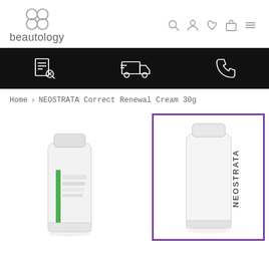beautology — navigation header with logo and icons
[Figure (screenshot): Black navigation bar with three icons: a checklist/receipt icon, a delivery truck icon, and a phone icon, all in white on black background]
Home > NEOSTRATA Correct Renewal Cream 30g
[Figure (photo): Two NEOSTRATA skincare tube products side by side. Left tube is white with green stripe label. Right tube is white with 'NEOSTRATA' branding shown inside a purple-bordered frame.]